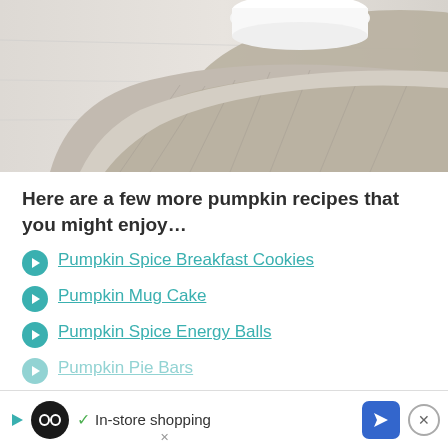[Figure (photo): Close-up photo of a white ceramic cup/bowl on a folded linen/burlap cloth on a white surface]
Here are a few more pumpkin recipes that you might enjoy…
Pumpkin Spice Breakfast Cookies
Pumpkin Mug Cake
Pumpkin Spice Energy Balls
Pumpkin Pie Bars
Sp... (partially visible)
[Figure (other): Ad bar: In-store shopping advertisement with logo, checkmark, navigation arrow, and close button]